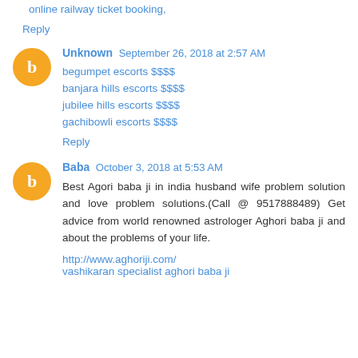online railway ticket booking,
Reply
Unknown September 26, 2018 at 2:57 AM
begumpet escorts $$$$
banjara hills escorts $$$$
jubilee hills escorts $$$$
gachibowli escorts $$$$
Reply
Baba October 3, 2018 at 5:53 AM
Best Agori baba ji in india husband wife problem solution and love problem solutions.(Call @ 9517888489) Get advice from world renowned astrologer Aghori baba ji and about the problems of your life.
http://www.aghoriji.com/
vashikaran specialist aghori baba ji